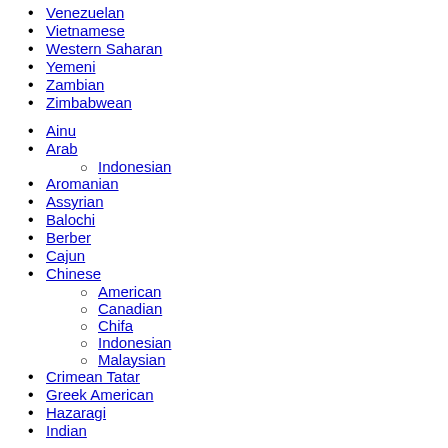Venezuelan
Vietnamese
Western Saharan
Yemeni
Zambian
Zimbabwean
Ainu
Arab
Indonesian (sub-item of Arab)
Aromanian
Assyrian
Balochi
Berber
Cajun
Chinese
American (sub-item of Chinese)
Canadian (sub-item of Chinese)
Chifa (sub-item of Chinese)
Indonesian (sub-item of Chinese)
Malaysian (sub-item of Chinese)
Crimean Tatar
Greek American
Hazaragi
Indian